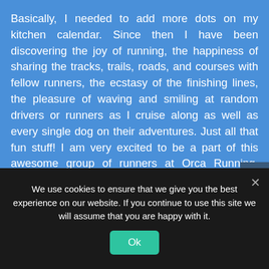Basically, I needed to add more dots on my kitchen calendar. Since then I have been discovering the joy of running, the happiness of sharing the tracks, trails, roads, and courses with fellow runners, the ecstasy of the finishing lines, the pleasure of waving and smiling at random drivers or runners as I cruise along as well as every single dog on their adventures. Just all that fun stuff! I am very excited to be a part of this awesome group of runners at Orca Running, make new friends and continue to share the stoke of running with EVERYONE! Let's goooo!
Instagram: @deniskitesny
We use cookies to ensure that we give you the best experience on our website. If you continue to use this site we will assume that you are happy with it.